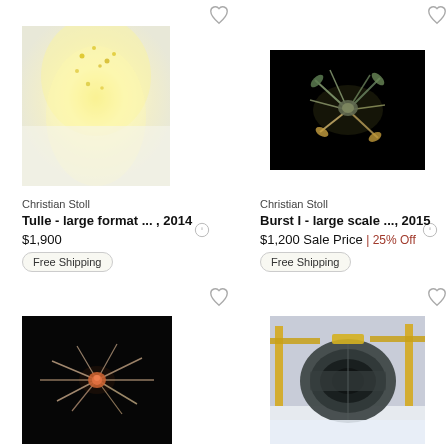[Figure (photo): Soft yellow blurred abstract photo resembling tulle fabric]
[Figure (photo): Dark background photo of a floral burst arrangement]
Christian Stoll
Tulle - large format ... , 2014
$1,900
Free Shipping
Christian Stoll
Burst I - large scale ..., 2015
$1,200 Sale Price | 25% Off
Free Shipping
[Figure (photo): Dark background photo showing a spiky marine creature with orange center]
[Figure (photo): Industrial photo of a large jet engine in a bright factory setting with yellow cranes]